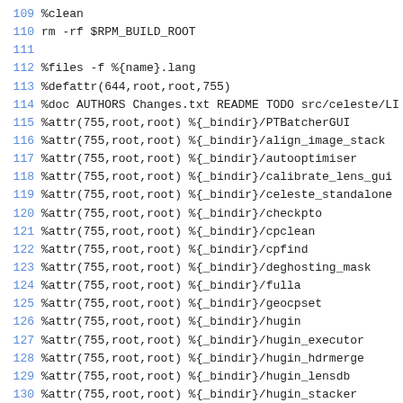109 %clean
110 rm -rf $RPM_BUILD_ROOT
111
112 %files -f %{name}.lang
113 %defattr(644,root,root,755)
114 %doc AUTHORS Changes.txt README TODO src/celeste/LI
115 %attr(755,root,root) %{_bindir}/PTBatcherGUI
116 %attr(755,root,root) %{_bindir}/align_image_stack
117 %attr(755,root,root) %{_bindir}/autooptimiser
118 %attr(755,root,root) %{_bindir}/calibrate_lens_gui
119 %attr(755,root,root) %{_bindir}/celeste_standalone
120 %attr(755,root,root) %{_bindir}/checkpto
121 %attr(755,root,root) %{_bindir}/cpclean
122 %attr(755,root,root) %{_bindir}/cpfind
123 %attr(755,root,root) %{_bindir}/deghosting_mask
124 %attr(755,root,root) %{_bindir}/fulla
125 %attr(755,root,root) %{_bindir}/geocpset
126 %attr(755,root,root) %{_bindir}/hugin
127 %attr(755,root,root) %{_bindir}/hugin_executor
128 %attr(755,root,root) %{_bindir}/hugin_hdrmerge
129 %attr(755,root,root) %{_bindir}/hugin_lensdb
130 %attr(755,root,root) %{_bindir}/hugin_stacker
131 %attr(755,root,root) %{_bindir}/hugin_stitch_projec
132 %attr(755,root,root) %{_bindir}/icpfind
133 %attr(755,root,root) %{_bindir}/linefind